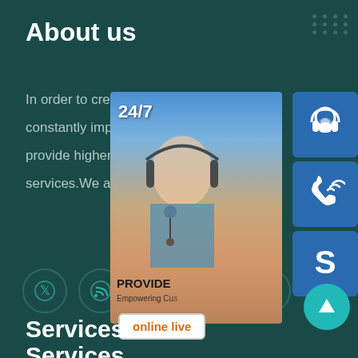About us
In order to create greater value for custo... constantly improve its mechanical proce... provide higher quality products with exce... services.We are always on the road...
[Figure (illustration): Row of five social media icon circles (Twitter, RSS, Dribbble, Behance, Instagram) with teal outline on dark teal background]
[Figure (infographic): Floating customer support widget panel showing: a customer service representative photo with '24/7' label and 'PROVIDE / Empowering Cu...' text, three blue icon buttons (headset, phone, Skype), and an 'online live' button. A teal back-to-top arrow button is also visible.]
Services
Alloy Steel Plate
Gas Cylinder Steel coil